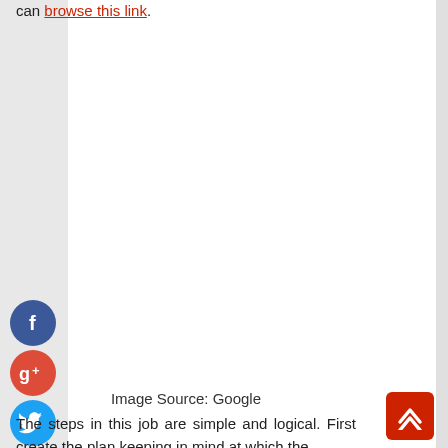can browse this link.
[Figure (other): Social share buttons: Facebook (blue circle), Google+ (red circle), Twitter (blue circle), Add/Share (blue circle)]
Image Source: Google
The steps in this job are simple and logical. First create the plan keeping in mind at which the